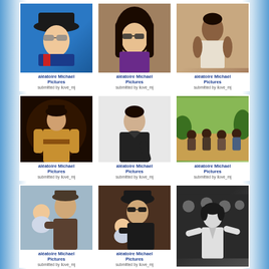[Figure (photo): Michael Jackson wearing sunglasses and black hat, blue background]
aléatoire Michael Pictures
submitted by ilove_mj
[Figure (photo): Michael Jackson close-up with long dark hair and sunglasses, purple shirt]
aléatoire Michael Pictures
submitted by ilove_mj
[Figure (photo): Person in white tank top, seated, warm tones]
aléatoire Michael Pictures
submitted by ilove_mj
[Figure (photo): Michael Jackson in gold costume on stage]
aléatoire Michael Pictures
submitted by ilove_mj
[Figure (photo): Michael Jackson in black leather jacket, black and white photo]
aléatoire Michael Pictures
submitted by ilove_mj
[Figure (photo): Group of people sitting outdoors, The Jacksons]
aléatoire Michael Pictures
submitted by ilove_mj
[Figure (photo): Michael Jackson with baby, wearing hat]
aléatoire Michael Pictures
submitted by ilove_mj
[Figure (photo): Michael Jackson with baby, wearing black hat and sunglasses]
aléatoire Michael Pictures
submitted by ilove_mj
[Figure (photo): Michael Jackson on stage in black and white, performing]